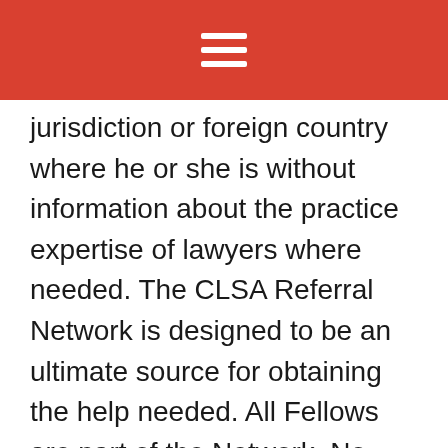[hamburger menu icon]
jurisdiction or foreign country where he or she is without information about the practice expertise of lawyers where needed. The CLSA Referral Network is designed to be an ultimate source for obtaining the help needed. All Fellows are part of the Network. No additional fee is required.
CLSA administration is available to screen Fellows as needed for streamlining the selection process of requesting Fellows. Requests for referral assistance may be made at ReferralRequest@ConstructionSociety.org.